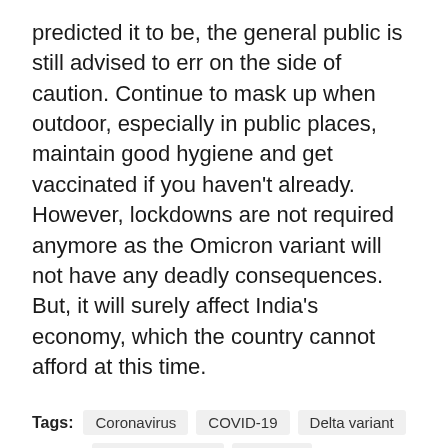predicted it to be, the general public is still advised to err on the side of caution. Continue to mask up when outdoor, especially in public places, maintain good hygiene and get vaccinated if you haven't already. However, lockdowns are not required anymore as the Omicron variant will not have any deadly consequences. But, it will surely affect India's economy, which the country cannot afford at this time.
Tags: Coronavirus  COVID-19  Delta variant  Indian Economy  Omicron  Omicron variant